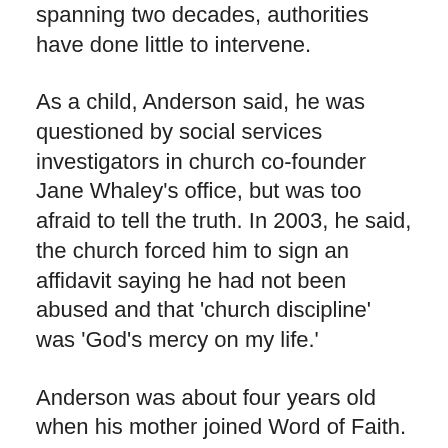even children. But despite allegations of abuse spanning two decades, authorities have done little to intervene.
As a child, Anderson said, he was questioned by social services investigators in church co-founder Jane Whaley’s office, but was too afraid to tell the truth. In 2003, he said, the church forced him to sign an affidavit saying he had not been abused and that ‘church discipline’ was ‘God’s mercy on my life.’
Anderson was about four years old when his mother joined Word of Faith. He describes his childhood as nothing short of hell.